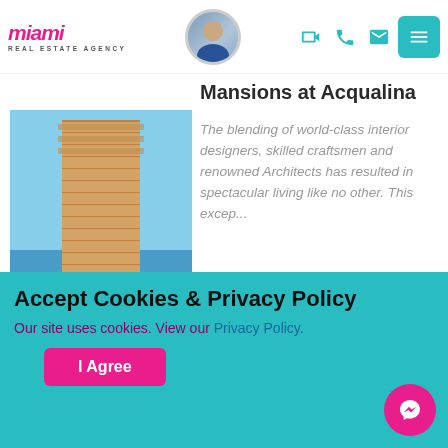[Figure (logo): Miami Real Estate Agency logo in pink/magenta italic text]
[Figure (photo): Circular avatar photo of a male real estate agent in a blue suit]
[Figure (illustration): Header icons: video camera, phone, email in teal; hamburger menu button in teal]
Mansions at Acqualina
[Figure (photo): Tall luxury waterfront condominium tower with ocean and palm trees in the background]
The blending of world-class interior designers, skilled craftsmen and renowned Architects has resulted in spectacular living like no other. This excep...
Accept Cookies & Privacy Policy
Our site uses cookies. View our Privacy Policy.
I Agree